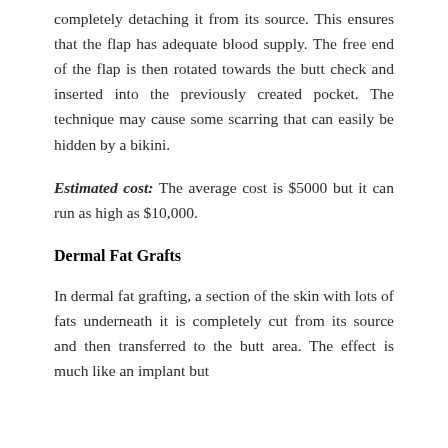completely detaching it from its source. This ensures that the flap has adequate blood supply. The free end of the flap is then rotated towards the butt check and inserted into the previously created pocket. The technique may cause some scarring that can easily be hidden by a bikini.
Estimated cost: The average cost is $5000 but it can run as high as $10,000.
Dermal Fat Grafts
In dermal fat grafting, a section of the skin with lots of fats underneath it is completely cut from its source and then transferred to the butt area. The effect is much like an implant but